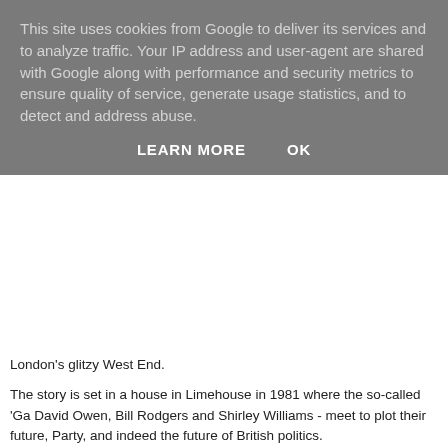This site uses cookies from Google to deliver its services and to analyze traffic. Your IP address and user-agent are shared with Google along with performance and security metrics to ensure quality of service, generate usage statistics, and to detect and address abuse.
LEARN MORE    OK
London's glitzy West End.
The story is set in a house in Limehouse in 1981 where the so-called 'Ga David Owen, Bill Rodgers and Shirley Williams - meet to plot their future, Party, and indeed the future of British politics.
At the time of the Limehouse meeting Britain had an adamantine female right-wing majority and a Labour Party divided over how to respond, argu disarray over Europe. Sound familiar?
After Margaret Thatcher's big win in 1979, the Labour Party took a big ju moderates/right-wingers of the Labour Party like our Gang of Four weren secret to talk it through – do they stay and fight or break away and form a
By the end of the day they had set aside their rivalries, anger, guilt, squa and bitter recriminations and come up with The Limehouse Declaration. A